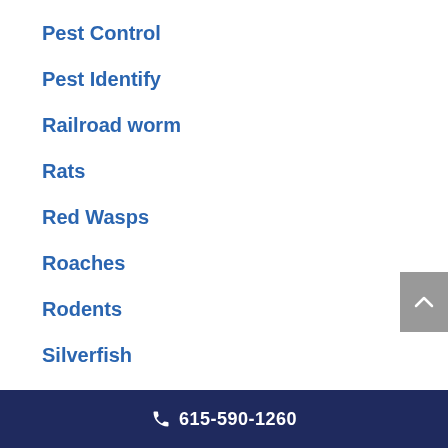Pest Control
Pest Identify
Railroad worm
Rats
Red Wasps
Roaches
Rodents
Silverfish
Snakes
Spiders
615-590-1260